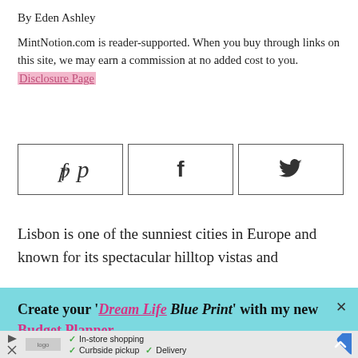By Eden Ashley
MintNotion.com is reader-supported. When you buy through links on this site, we may earn a commission at no added cost to you. Disclosure Page
[Figure (other): Three social media share buttons side by side: Pinterest (p icon), Facebook (f icon), Twitter (bird icon)]
Lisbon is one of the sunniest cities in Europe and known for its spectacular hilltop vistas and
Create your 'Dream Life Blue Print' with my new Budget Planner
[Figure (other): Advertisement bar at the bottom showing a store logo, checkmarks for In-store shopping, Curbside pickup, Delivery, and a blue diamond navigation arrow icon]